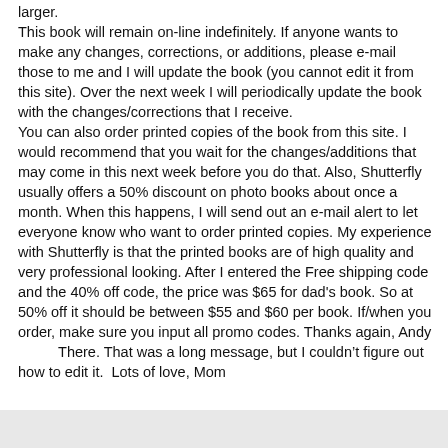larger.
This book will remain on-line indefinitely. If anyone wants to make any changes, corrections, or additions, please e-mail those to me and I will update the book (you cannot edit it from this site). Over the next week I will periodically update the book with the changes/corrections that I receive.
You can also order printed copies of the book from this site. I would recommend that you wait for the changes/additions that may come in this next week before you do that. Also, Shutterfly usually offers a 50% discount on photo books about once a month. When this happens, I will send out an e-mail alert to let everyone know who want to order printed copies. My experience with Shutterfly is that the printed books are of high quality and very professional looking. After I entered the Free shipping code and the 40% off code, the price was $65 for dad's book. So at 50% off it should be between $55 and $60 per book. If/when you order, make sure you input all promo codes. Thanks again, Andy
          There. That was a long message, but I couldn't figure out how to edit it.  Lots of love, Mom